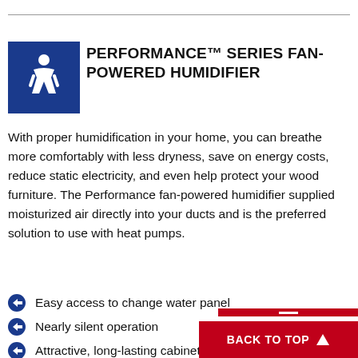PERFORMANCE™ SERIES FAN-POWERED HUMIDIFIER
With proper humidification in your home, you can breathe more comfortably with less dryness, save on energy costs, reduce static electricity, and even help protect your wood furniture. The Performance fan-powered humidifier supplied moisturized air directly into your ducts and is the preferred solution to use with heat pumps.
Easy access to change water panel
Nearly silent operation
Attractive, long-lasting cabinet